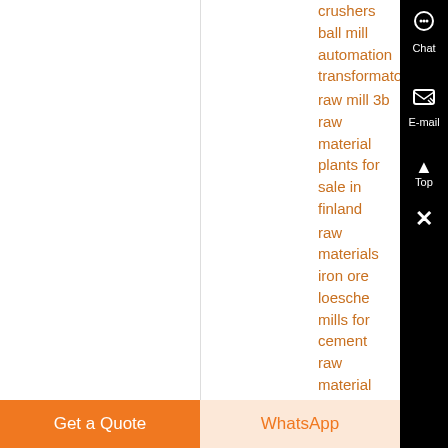crushers ball mill automation transformator
raw mill 3b raw material plants for sale in finland
raw materials iron ore loesche mills for cement raw material
raw gold ore
cost of raw silica per ton
stone crusher raw material
Get a Quote
WhatsApp